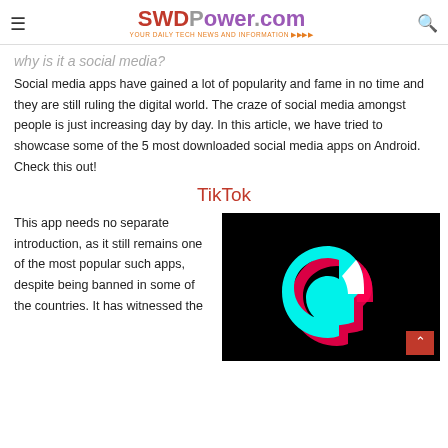SWDPower.com — YOUR DAILY TECH NEWS AND INFORMATION
why is it a social media?
Social media apps have gained a lot of popularity and fame in no time and they are still ruling the digital world. The craze of social media amongst people is just increasing day by day. In this article, we have tried to showcase some of the 5 most downloaded social media apps on Android. Check this out!
TikTok
This app needs no separate introduction, as it still remains one of the most popular such apps, despite being banned in some of the countries. It has witnessed the
[Figure (logo): TikTok logo on black background — cyan and white music note with red shadow, small red back-to-top button in bottom right corner]